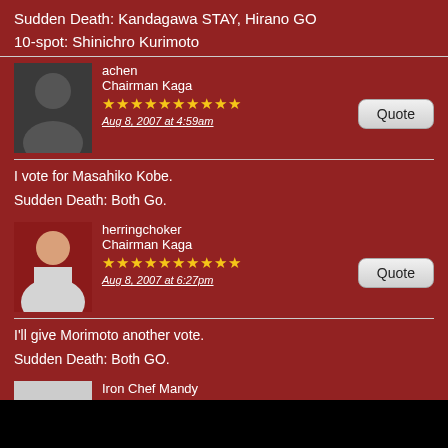Sudden Death: Kandagawa STAY, Hirano GO
10-spot: Shinichro Kurimoto
achen
Chairman Kaga
★★★★★★★★★★
Aug 8, 2007 at 4:59am
I vote for Masahiko Kobe.

Sudden Death: Both Go.
herringchoker
Chairman Kaga
★★★★★★★★★★
Aug 8, 2007 at 6:27pm
I'll give Morimoto another vote.

Sudden Death: Both GO.
Iron Chef Mandy